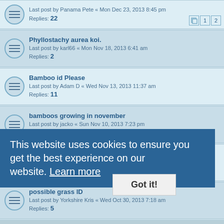Last post by Panama Pete « Mon Dec 23, 2013 8:45 pm
Replies: 22
Phyllostachy aurea koi.
Last post by karl66 « Mon Nov 18, 2013 6:41 am
Replies: 2
Bamboo id Please
Last post by Adam D « Wed Nov 13, 2013 11:37 am
Replies: 11
bamboos growing in november
Last post by jacko « Sun Nov 10, 2013 7:23 pm
Replies: 5
Phyllostachys iridescens
Last post by jacko « Sun Nov 03, 2013 6:53 pm
Replies: 5
possible grass ID
Last post by Yorkshire Kris « Wed Oct 30, 2013 7:18 am
Replies: 5
A list of Bamboo suppliers UK
Last post by Yorkshire Kris « Tue Oct 29, 2013 10:28 am
Blue Fountain New Growth!
Last post by Yorkshire Kris « Sat Oct 12, 2013 12:09 pm
Replies: 15
cutting horizontal rhizomes.
Last post by Dave Brown « Thu Oct 10, 2013 4:35 pm
Replies: 11
Phyllostacys prominens
This website uses cookies to ensure you get the best experience on our website. Learn more
Got it!